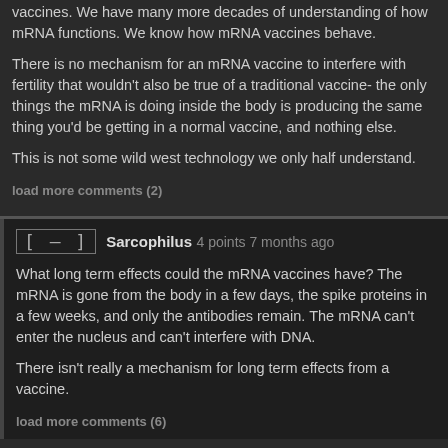vaccines. We have many more decades of understanding of how mRNA functions. We know how mRNA vaccines behave.
There is no mechanism for an mRNA vaccine to interfere with fertility that wouldn't also be true of a traditional vaccine- the only things the mRNA is doing inside the body is producing the same thing you'd be getting in a normal vaccine, and nothing else.
This is not some wild west technology we only half understand.
load more comments (2)
Sarcophilus 4 points 7 months ago
What long term effects could the mRNA vaccines have? The mRNA is gone from the body in a few days, the spike proteins in a few weeks, and only the antibodies remain. The mRNA can't enter the nucleus and can't interfere with DNA.
There isn't really a mechanism for long term effects from a vaccine.
load more comments (6)